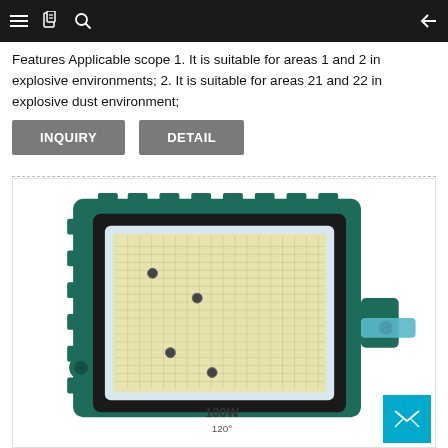Navigation bar with menu, document, search icons and back arrow
Features Applicable scope 1. It is suitable for areas 1 and 2 in explosive environments; 2. It is suitable for areas 21 and 22 in explosive dust environment;
[Figure (screenshot): Two buttons: INQUIRY (grey) and DETAIL (grey)]
[Figure (photo): Product photo of a green LED flood light (100W) with black housing and SMD LED array panel, mounted on a bracket, shown on white background with '100W' text visible at bottom.]